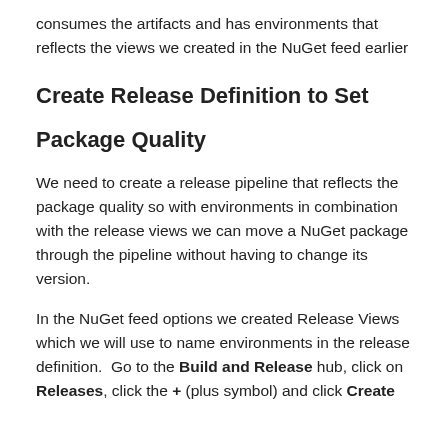consumes the artifacts and has environments that reflects the views we created in the NuGet feed earlier
Create Release Definition to Set
Package Quality
We need to create a release pipeline that reflects the package quality so with environments in combination with the release views we can move a NuGet package through the pipeline without having to change its version.
In the NuGet feed options we created Release Views which we will use to name environments in the release definition.  Go to the Build and Release hub, click on Releases, click the + (plus symbol) and click Create